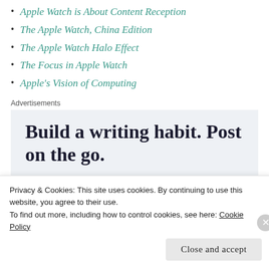Apple Watch is About Content Reception
The Apple Watch, China Edition
The Apple Watch Halo Effect
The Focus in Apple Watch
Apple's Vision of Computing
Advertisements
[Figure (other): Advertisement banner with text: Build a writing habit. Post on the go.]
Privacy & Cookies: This site uses cookies. By continuing to use this website, you agree to their use.
To find out more, including how to control cookies, see here: Cookie Policy
Close and accept